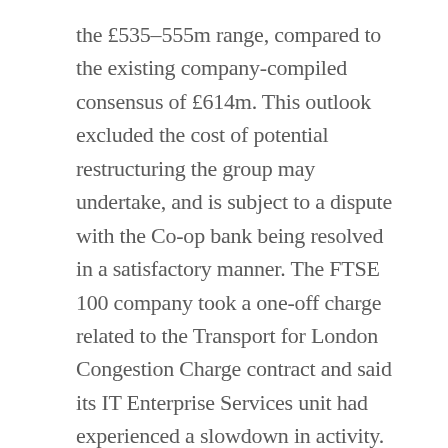the £535–555m range, compared to the existing company-compiled consensus of £614m. This outlook excluded the cost of potential restructuring the group may undertake, and is subject to a dispute with the Co-op bank being resolved in a satisfactory manner. The FTSE 100 company took a one-off charge related to the Transport for London Congestion Charge contract and said its IT Enterprise Services unit had experienced a slowdown in activity. Organic revenue growth for the full year was pegged back to 1.0%, compared to its previous forecast of 4.0% following what management described as a 'solid' first half of the year.
Further UK economic data released today cast